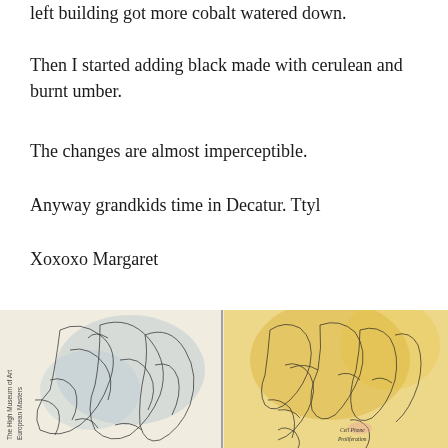left building got more cobalt watered down.
Then I started adding black made with cerulean and burnt umber.
The changes are almost imperceptible.
Anyway grandkids time in Decatur. Ttyl
Xoxoxo Margaret
[Figure (illustration): A sketchbook spread showing ink and watercolor drawings. Left page depicts draped figures or sculptures with blue-gray washes, with text 'The High Museum of Art European Masters' along the spine. Right page shows figures seated, rendered in ink with golden-yellow watercolor washes, and a handwritten note 'Cell Phone Proliferation' in the lower right corner.]